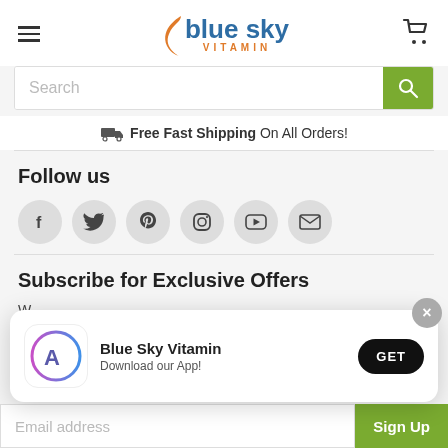[Figure (logo): Blue Sky Vitamin logo with orange swoosh and blue text, with VITAMIN in orange below]
Search
Free Fast Shipping  On All Orders!
Follow us
[Figure (infographic): Social media icons: Facebook, Twitter, Pinterest, Instagram, YouTube, Email in gray circles]
Subscribe for Exclusive Offers
W
Se
[Figure (infographic): App download popup: Blue Sky Vitamin app icon with App Store logo, text 'Blue Sky Vitamin / Download our App!', GET button, and X close button]
Email address
Sign Up